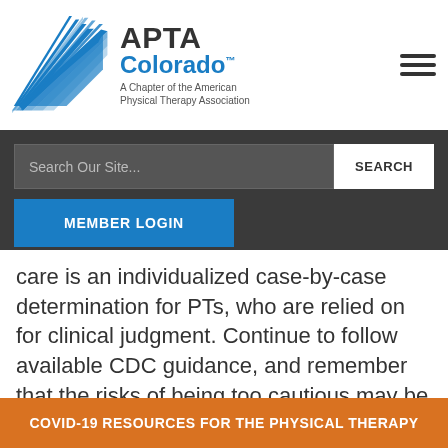[Figure (logo): APTA Colorado logo with blue arrow/wing graphic and text 'APTA Colorado. A Chapter of the American Physical Therapy Association']
[Figure (screenshot): Website navigation bar with dark background showing search input field, SEARCH button, and MEMBER LOGIN blue button]
care is an individualized case-by-case determination for PTs, who are relied on for clinical judgment. Continue to follow available CDC guidance, and remember that the risks of being too cautious may be less than the risks of not being cautious enough.
COVID-19 RESOURCES FOR THE PHYSICAL THERAPY